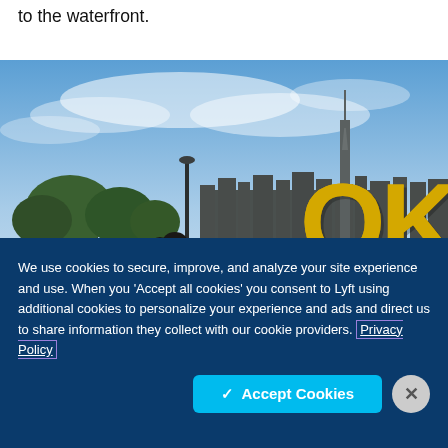to the waterfront.
[Figure (photo): Outdoor photo showing people near a large yellow 'OK' sign with the New York City skyline including One World Trade Center in the background, with Brooklyn Bridge visible and trees, under a blue sky with light clouds.]
We use cookies to secure, improve, and analyze your site experience and use. When you 'Accept all cookies' you consent to Lyft using additional cookies to personalize your experience and ads and direct us to share information they collect with our cookie providers. Privacy Policy
✓ Accept Cookies